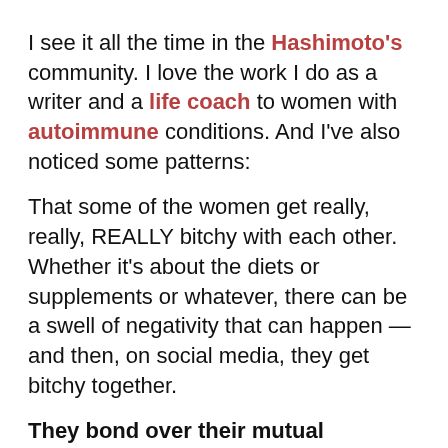I see it all the time in the Hashimoto's community. I love the work I do as a writer and a life coach to women with autoimmune conditions. And I've also noticed some patterns:
That some of the women get really, really, REALLY bitchy with each other. Whether it's about the diets or supplements or whatever, there can be a swell of negativity that can happen — and then, on social media, they get bitchy together.
They bond over their mutual negativity.
And then, they're like crabs in a bucket: One